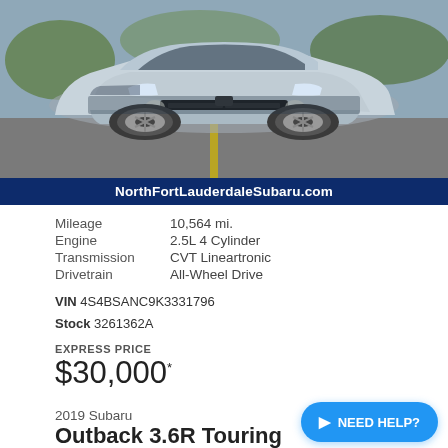[Figure (photo): Silver/light blue 2019 Subaru Outback 3.6R Touring photographed in a parking lot from a front 3/4 angle. The car has distinctive multi-spoke alloy wheels and fog lights.]
NorthFortLauderdaleSubaru.com
| Mileage | 10,564 mi. |
| Engine | 2.5L 4 Cylinder |
| Transmission | CVT Lineartronic |
| Drivetrain | All-Wheel Drive |
VIN 4S4BSANC9K3331796
Stock 3261362A
EXPRESS PRICE
$30,000*
2019 Subaru
Outback 3.6R Touring